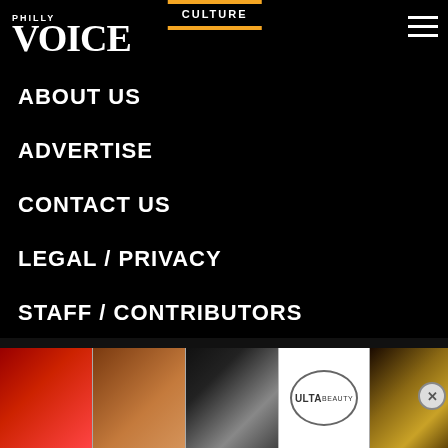Philly Voice
CULTURE
ABOUT US
ADVERTISE
CONTACT US
LEGAL / PRIVACY
STAFF / CONTRIBUTORS
RSS
[Figure (photo): Video thumbnail of a young woman with dark hair wearing a green vest and navy shirt, standing in front of graffiti wall, with a play button overlay]
Pretty Little Liars: Original Sin: Meet The Sheriff
[Figure (photo): Advertisement banner for Ulta Beauty showing makeup products and models with text SHOP NOW]